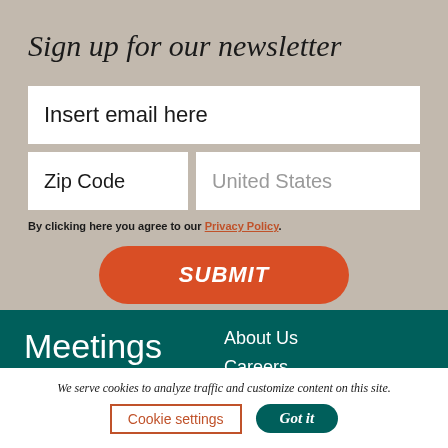Sign up for our newsletter
Insert email here
Zip Code
United States
By clicking here you agree to our Privacy Policy.
SUBMIT
Meetings
About Us
Careers
We serve cookies to analyze traffic and customize content on this site.
Cookie settings
Got it